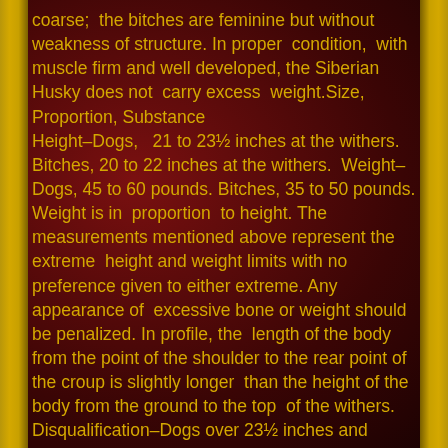coarse; the bitches are feminine but without weakness of structure. In proper condition, with muscle firm and well developed, the Siberian Husky does not carry excess weight.Size, Proportion, Substance
Height–Dogs, 21 to 23½ inches at the withers. Bitches, 20 to 22 inches at the withers. Weight–Dogs, 45 to 60 pounds. Bitches, 35 to 50 pounds. Weight is in proportion to height. The measurements mentioned above represent the extreme height and weight limits with no preference given to either extreme. Any appearance of excessive bone or weight should be penalized. In profile, the length of the body from the point of the shoulder to the rear point of the croup is slightly longer than the height of the body from the ground to the top of the withers. Disqualification–Dogs over 23½ inches and bitches over 22 inches.Head
Head Expression, is keen, but friendly; interested and